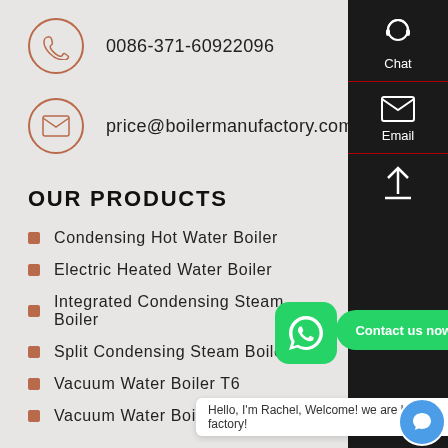0086-371-60922096
price@boilermanufactory.com
OUR PRODUCTS
Condensing Hot Water Boiler
Electric Heated Water Boiler
Integrated Condensing Steam Boiler
Split Condensing Steam Boiler
Vacuum Water Boiler T6
Vacuum Water Boiler T7
[Figure (screenshot): Right sidebar with Chat, Email, and scroll-to-top icons on dark background; WhatsApp floating button; Contact us now green bubble; Hello I'm Rachel chat popup at bottom; blue chat icon bottom right.]
Hello, I'm Rachel, Welcome! we are boiler factory!